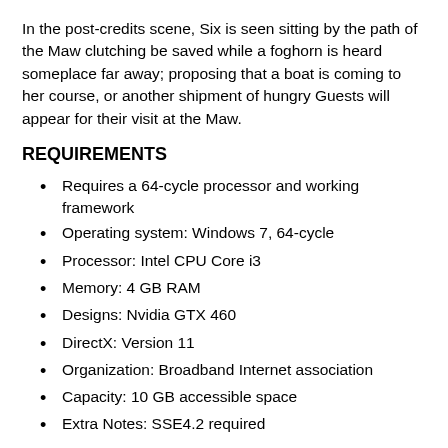In the post-credits scene, Six is seen sitting by the path of the Maw clutching be saved while a foghorn is heard someplace far away; proposing that a boat is coming to her course, or another shipment of hungry Guests will appear for their visit at the Maw.
REQUIREMENTS
Requires a 64-cycle processor and working framework
Operating system: Windows 7, 64-cycle
Processor: Intel CPU Core i3
Memory: 4 GB RAM
Designs: Nvidia GTX 460
DirectX: Version 11
Organization: Broadband Internet association
Capacity: 10 GB accessible space
Extra Notes: SSE4.2 required